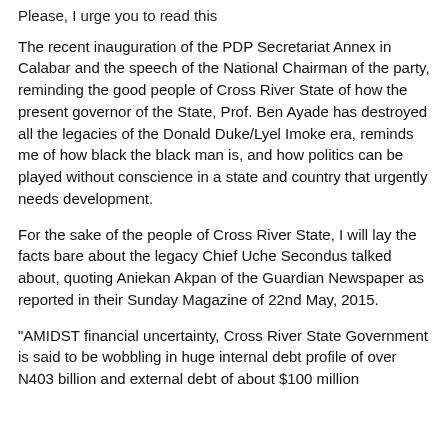Please, I urge you to read this
The recent inauguration of the PDP Secretariat Annex in Calabar and the speech of the National Chairman of the party, reminding the good people of Cross River State of how the present governor of the State, Prof. Ben Ayade has destroyed all the legacies of the Donald Duke/Lyel Imoke era, reminds me of how black the black man is, and how politics can be played without conscience in a state and country that urgently needs development.
For the sake of the people of Cross River State, I will lay the facts bare about the legacy Chief Uche Secondus talked about, quoting Aniekan Akpan of the Guardian Newspaper as reported in their Sunday Magazine of 22nd May, 2015.
"AMIDST financial uncertainty, Cross River State Government is said to be wobbling in huge internal debt profile of over N403 billion and external debt of about $100 million